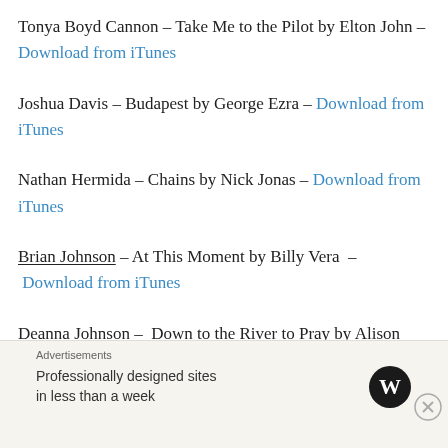Tonya Boyd Cannon – Take Me to the Pilot by Elton John – Download from iTunes
Joshua Davis – Budapest by George Ezra – Download from iTunes
Nathan Hermida – Chains by Nick Jonas – Download from iTunes
Brian Johnson – At This Moment by Billy Vera  –  Download from iTunes
Deanna Johnson –  Down to the River to Pray by Alison Krauss – Download from iTunes
Advertisements
Professionally designed sites in less than a week